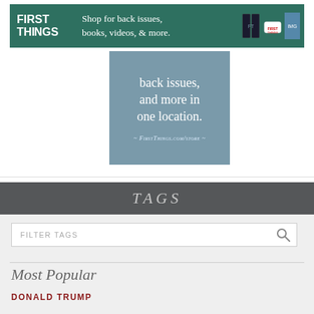[Figure (other): First Things banner advertisement: green background with 'FIRST THINGS' logo, text 'Shop for back issues, books, videos, & more.' and product images]
[Figure (other): First Things square advertisement on blue-grey background: 'back issues, and more in one location. ~ FirstThings.com/store ~']
TAGS
FILTER TAGS
Most Popular
DONALD TRUMP